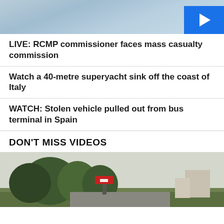[Figure (photo): Partial photo at top of page showing a person in light blue clothing, with a blue play button overlay in bottom right corner]
LIVE: RCMP commissioner faces mass casualty commission
Watch a 40-metre superyacht sink off the coast of Italy
WATCH: Stolen vehicle pulled out from bus terminal in Spain
DON'T MISS VIDEOS
[Figure (photo): Partial photo at bottom showing trees and buildings under an overcast sky]